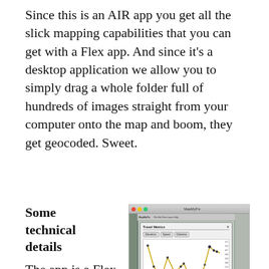Since this is an AIR app you get all the slick mapping capabilities that you can get with a Flex app. And since it’s a desktop application we allow you to simply drag a whole folder full of hundreds of images straight from your computer onto the map and boom, they get geocoded. Sweet.
Some technical details
The app is a Flex application using the
[Figure (screenshot): Screenshot of a desktop application showing a map interface with a dialog box titled 'Travel Metrics' open. The dialog contains tabs labeled 'Elevation', 'Speed', 'Distance' and displays a line chart with a W-shaped path. Below the chart are summary statistics.]